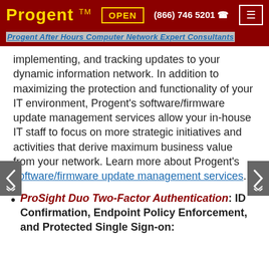Progent ™  OPEN  (866) 746 5201  ☎
Progent After Hours Computer Network Expert Consultants
implementing, and tracking updates to your dynamic information network. In addition to maximizing the protection and functionality of your IT environment, Progent's software/firmware update management services allow your in-house IT staff to focus on more strategic initiatives and activities that derive maximum business value from your network. Learn more about Progent's software/firmware update management services.
ProSight Duo Two-Factor Authentication: ID Confirmation, Endpoint Policy Enforcement, and Protected Single Sign-on: